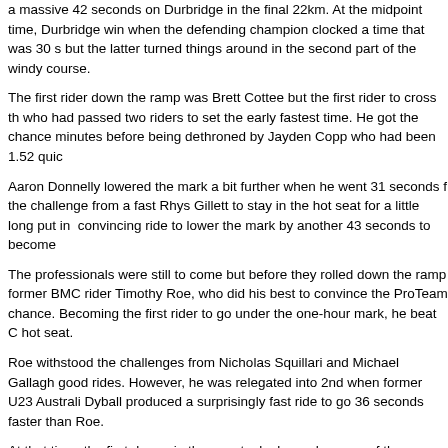a massive 42 seconds on Durbridge in the final 22km. At the midpoint time, Durbridge win when the defending champion clocked a time that was 30 s but the latter turned things around in the second part of the windy course.
The first rider down the ramp was Brett Cottee but the first rider to cross th who had passed two riders to set the early fastest time. He got the chance minutes before being dethroned by Jayden Copp who had been 1.52 quic
Aaron Donnelly lowered the mark a bit further when he went 31 seconds f the challenge from a fast Rhys Gillett to stay in the hot seat for a little long put in  convincing ride to lower the mark by another 43 seconds to become
The professionals were still to come but before they rolled down the ramp former BMC rider Timothy Roe, who did his best to convince the ProTeam chance. Becoming the first rider to go under the one-hour mark, he beat C hot seat.
Roe withstood the challenges from Nicholas Squillari and Michael Gallagh good rides. However, he was relegated into 2nd when former U23 Australi Dyball produced a surprisingly fast ride to go 36 seconds faster than Roe.
At that time, the first drama in the race took place when one of the pre-rac (Garmin-Sharp) came down. Strong winds blew the talented Australian off abandon the race immediately.
Dyball didn't get long time to enjoy his lead. Actually, there had been four Hepburn on the starting ramp but the Orica-GreenEDGE rider has passed cross the line, lowering the mark by 2.53. Marc Williams, Jack Anderson, Clarke all had good rides to finish in or near the top 10 but had been unab them.